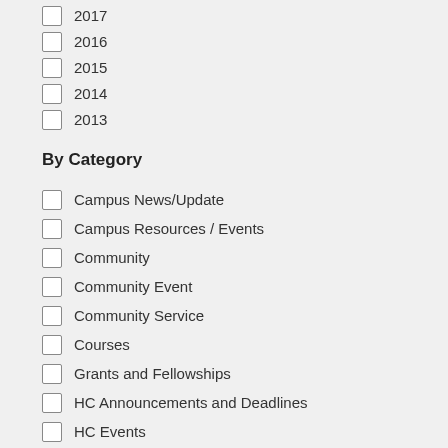2017
2016
2015
2014
2013
By Category
Campus News/Update
Campus Resources / Events
Community
Community Event
Community Service
Courses
Grants and Fellowships
HC Announcements and Deadlines
HC Events
HC Student Orgs and Publications
Honors College Event
Internship